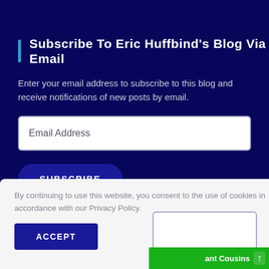Subscribe To Eric Huffbind's Blog Via Email
Enter your email address to subscribe to this blog and receive notifications of new posts by email.
[Figure (screenshot): Email Address input field (text box)]
[Figure (screenshot): SUBSCRIBE button (dark blue rounded button)]
By continuing to use this website, you consent to the use of cookies in accordance with our Privacy Policy.
[Figure (screenshot): ACCEPT button (dark blue rectangular button)]